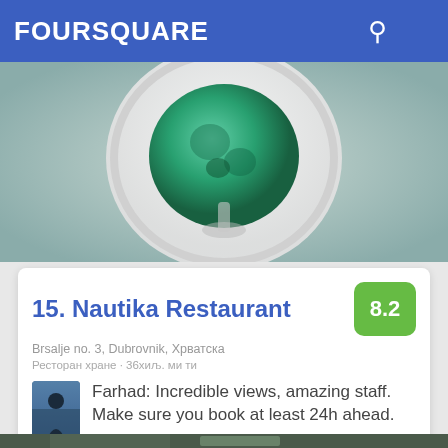FOURSQUARE
[Figure (photo): Top-down view of a food dish on a white plate, showing green-colored food, against a light background]
15. Nautika Restaurant
Brsalje no. 3, Dubrovnik, Хрватска
Ресторан хране · 36хиљ. ми ти
Farhad: Incredible views, amazing staff. Make sure you book at least 24h ahead.
[Figure (photo): Street-level photo of a building exterior with a GAMES sign visible, dark wall with vents and a window]